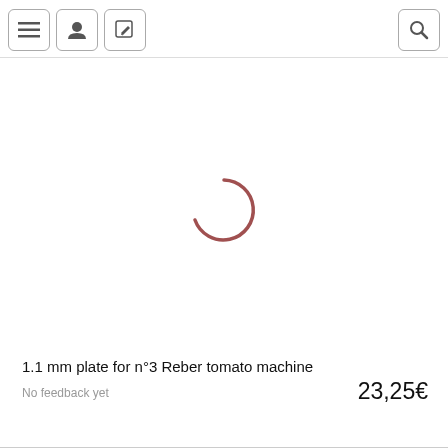Navigation header with menu, user, edit, and search icons
[Figure (illustration): A loading spinner arc rendered in muted rose/dusty red color, approximately 3/4 of a circle, centered in the product image area]
1.1 mm plate for n°3 Reber tomato machine
No feedback yet
23,25€